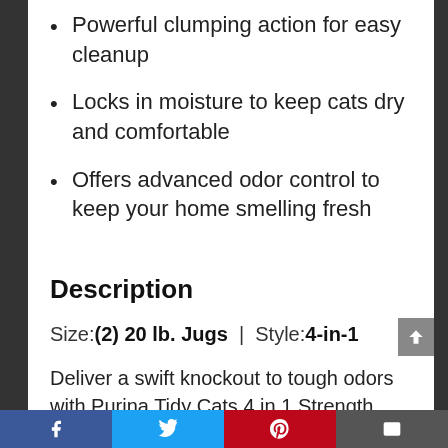Powerful clumping action for easy cleanup
Locks in moisture to keep cats dry and comfortable
Offers advanced odor control to keep your home smelling fresh
Description
Size: (2) 20 lb. Jugs | Style: 4-in-1
Deliver a swift knockout to tough odors with Purina Tidy Cats 4 in 1 Strength clumping